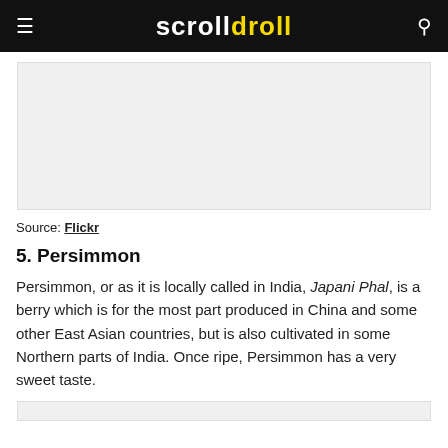scroll droll
[Figure (photo): Image placeholder with light gray background, appears to be a photo of a fruit (persimmon)]
Source: Flickr
5. Persimmon
Persimmon, or as it is locally called in India, Japani Phal, is a berry which is for the most part produced in China and some other East Asian countries, but is also cultivated in some Northern parts of India. Once ripe, Persimmon has a very sweet taste.